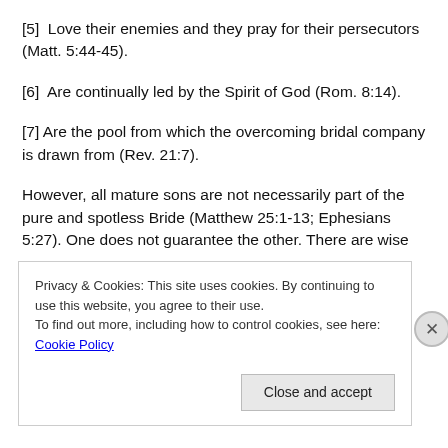[5]  Love their enemies and they pray for their persecutors (Matt. 5:44-45).
[6]  Are continually led by the Spirit of God (Rom. 8:14).
[7] Are the pool from which the overcoming bridal company is drawn from (Rev. 21:7).
However, all mature sons are not necessarily part of the pure and spotless Bride (Matthew 25:1-13; Ephesians 5:27). One does not guarantee the other. There are wise
Privacy & Cookies: This site uses cookies. By continuing to use this website, you agree to their use.
To find out more, including how to control cookies, see here: Cookie Policy